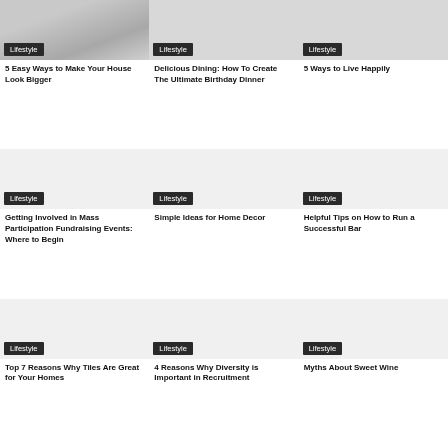[Figure (photo): Room interior photo for house article]
Lifestyle
5 Easy Ways to Make Your House Look Bigger
[Figure (photo): Placeholder image for birthday dinner article]
Lifestyle
Delicious Dining: How To Create The Ultimate Birthday Dinner
[Figure (photo): Placeholder image for live happily article]
Lifestyle
5 Ways to Live Happily
[Figure (photo): Placeholder image for fundraising article]
Lifestyle
Getting Involved in Mass Participation Fundraising Events: Where to Begin
[Figure (photo): Placeholder image for home decor article]
Lifestyle
Simple Ideas for Home Decor
[Figure (photo): Placeholder image for bar article]
Lifestyle
Helpful Tips on How to Run a Successful Bar
[Figure (photo): Placeholder image for tiles article]
Lifestyle
Top 7 Reasons Why Tiles Are Great for Your Homes
[Figure (photo): Placeholder image for diversity article]
Lifestyle
4 Reasons Why Diversity is Important in Recruitment
[Figure (photo): Placeholder image for wine article]
Lifestyle
Myths About Sweet Wine